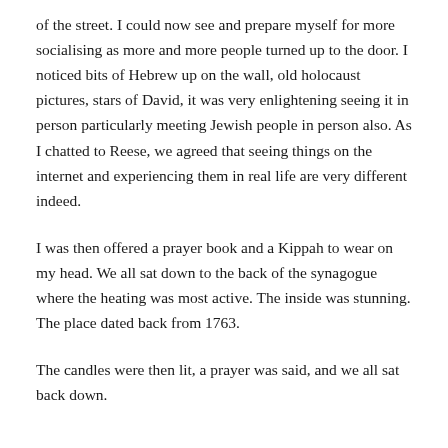of the street. I could now see and prepare myself for more socialising as more and more people turned up to the door. I noticed bits of Hebrew up on the wall, old holocaust pictures, stars of David, it was very enlightening seeing it in person particularly meeting Jewish people in person also. As I chatted to Reese, we agreed that seeing things on the internet and experiencing them in real life are very different indeed.
I was then offered a prayer book and a Kippah to wear on my head. We all sat down to the back of the synagogue where the heating was most active. The inside was stunning. The place dated back from 1763.
The candles were then lit, a prayer was said, and we all sat back down.